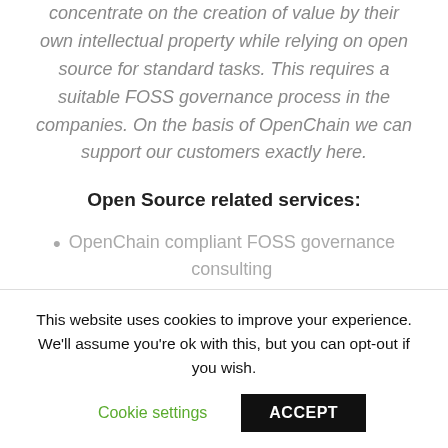concentrate on the creation of value by their own intellectual property while relying on open source for standard tasks. This requires a suitable FOSS governance process in the companies. On the basis of OpenChain we can support our customers exactly here.
Open Source related services:
OpenChain compliant FOSS governance consulting
This website uses cookies to improve your experience. We'll assume you're ok with this, but you can opt-out if you wish.